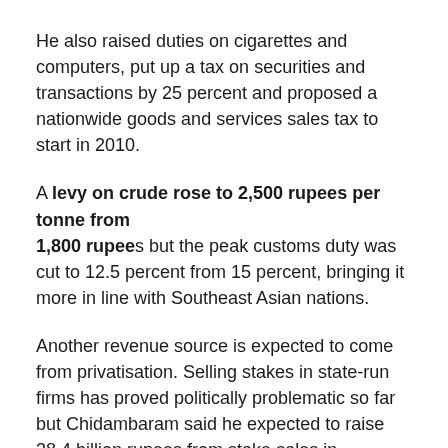He also raised duties on cigarettes and computers, put up a tax on securities and transactions by 25 percent and proposed a nationwide goods and services sales tax to start in 2010.
A levy on crude rose to 2,500 rupees per tonne from 1,800 rupees but the peak customs duty was cut to 12.5 percent from 15 percent, bringing it more in line with Southeast Asian nations.
Another revenue source is expected to come from privatisation. Selling stakes in state-run firms has proved politically problematic so far but Chidambaram said he expected to raise 38.4 billion rupees from stake sales in 2006/07.
http://www.alertnet.org/thenews/newsdesk/BOM306555.htm